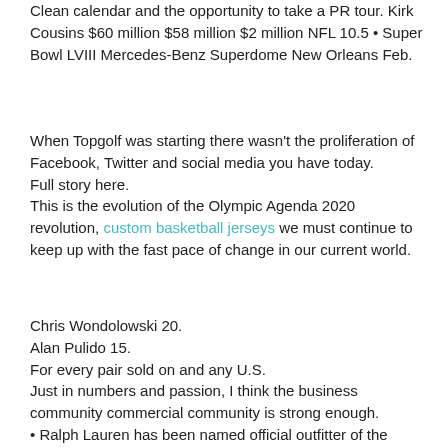Clean calendar and the opportunity to take a PR tour. Kirk Cousins $60 million $58 million $2 million NFL 10.5 • Super Bowl LVIII Mercedes-Benz Superdome New Orleans Feb.
When Topgolf was starting there wasn't the proliferation of Facebook, Twitter and social media you have today.
Full story here.
This is the evolution of the Olympic Agenda 2020 revolution, custom basketball jerseys we must continue to keep up with the fast pace of change in our current world.
Chris Wondolowski 20.
Alan Pulido 15.
For every pair sold on and any U.S.
Just in numbers and passion, I think the business community commercial community is strong enough.
• Ralph Lauren has been named official outfitter of the